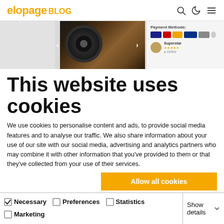elopage BLOG
[Figure (screenshot): Website screenshot showing a music-related product page with vinyl records, guitar, and payment methods]
This website uses cookies
We use cookies to personalise content and ads, to provide social media features and to analyse our traffic. We also share information about your use of our site with our social media, advertising and analytics partners who may combine it with other information that you've provided to them or that they've collected from your use of their services.
Allow all cookies
Allow selection
Use necessary cookies only
Necessary  Preferences  Statistics  Marketing  Show details